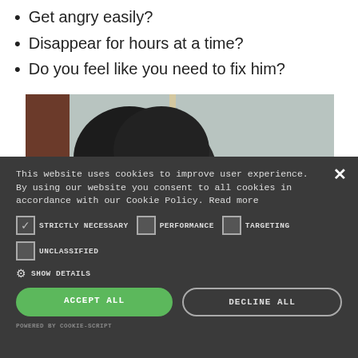Get angry easily?
Disappear for hours at a time?
Do you feel like you need to fix him?
[Figure (photo): Photo showing the back of a person's head with dark hair, partially visible against a window background]
This website uses cookies to improve user experience. By using our website you consent to all cookies in accordance with our Cookie Policy. Read more
STRICTLY NECESSARY  PERFORMANCE  TARGETING
UNCLASSIFIED
SHOW DETAILS
ACCEPT ALL
DECLINE ALL
POWERED BY COOKIE-SCRIPT